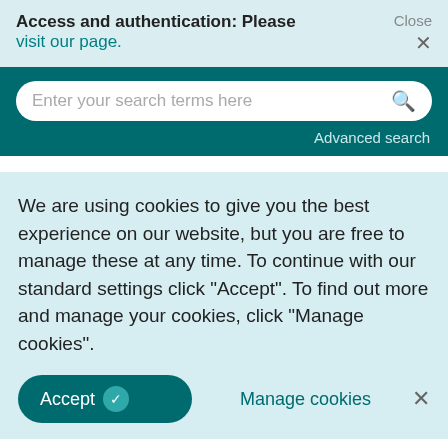Access and authentication: Please visit our page.
Close ×
Enter your search terms here
Advanced search
We are using cookies to give you the best experience on our website, but you are free to manage these at any time. To continue with our standard settings click "Accept". To find out more and manage your cookies, click "Manage cookies".
Accept ✓   Manage cookies   ×
change is increasingly becoming securitised within policy discourses, and enmeshed with broader